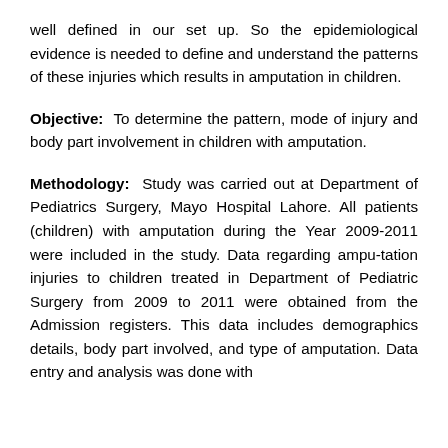well defined in our set up. So the epidemiological evidence is needed to define and understand the patterns of these injuries which results in amputation in children.
Objective: To determine the pattern, mode of injury and body part involvement in children with amputation.
Methodology: Study was carried out at Department of Pediatrics Surgery, Mayo Hospital Lahore. All patients (children) with amputation during the Year 2009-2011 were included in the study. Data regarding ampu-tation injuries to children treated in Department of Pediatric Surgery from 2009 to 2011 were obtained from the Admission registers. This data includes demographics details, body part involved, and type of amputation. Data entry and analysis was done with